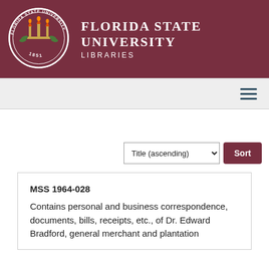FLORIDA STATE UNIVERSITY LIBRARIES
[Figure (logo): Florida State University circular seal with torches and 1851]
Title (ascending) Sort
MSS 1964-028
Contains personal and business correspondence, documents, bills, receipts, etc., of Dr. Edward Bradford, general merchant and plantation